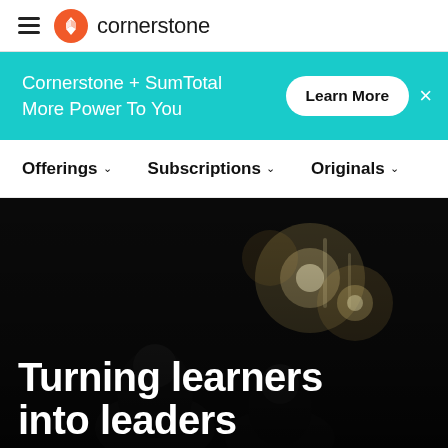cornerstone
Cornerstone + SumTotal More Power To You
Learn More
Offerings  Subscriptions  Originals
[Figure (photo): Dark background hero image showing people with bokeh light effects, overlaid with large white text reading 'Turning learners into leaders']
Turning learners into leaders